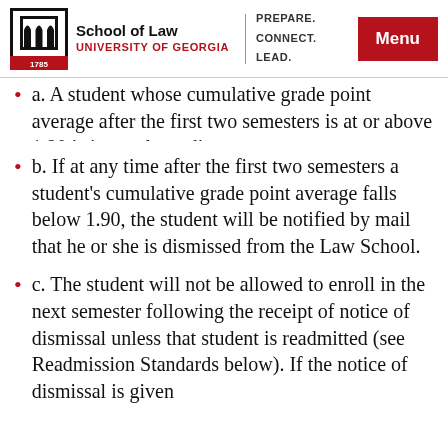School of Law | University of Georgia | PREPARE. CONNECT. LEAD. | Menu
a. A student whose cumulative grade point average after the first two semesters is at or above 1.90 is in good standing.
b. If at any time after the first two semesters a student’s cumulative grade point average falls below 1.90, the student will be notified by mail that he or she is dismissed from the Law School.
c. The student will not be allowed to enroll in the next semester following the receipt of notice of dismissal unless that student is readmitted (see Readmission Standards below). If the notice of dismissal is given